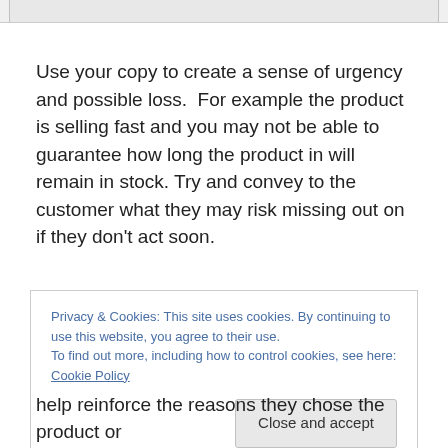[Figure (screenshot): Partial top strip showing a cropped screenshot of a webpage header]
Use your copy to create a sense of urgency and possible loss.  For example the product is selling fast and you may not be able to guarantee how long the product in will remain in stock. Try and convey to the customer what they may risk missing out on if they don't act soon.
Privacy & Cookies: This site uses cookies. By continuing to use this website, you agree to their use.
To find out more, including how to control cookies, see here: Cookie Policy
[Close and accept]
help reinforce the reasons they chose the product or